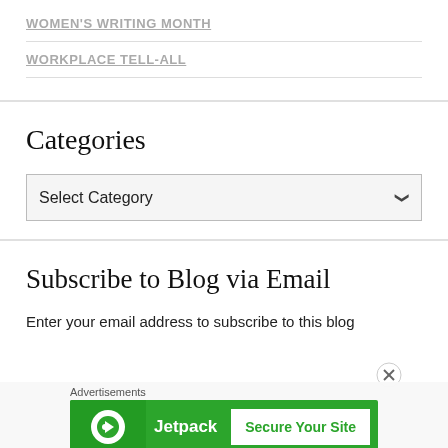WOMEN'S WRITING MONTH
WORKPLACE TELL-ALL
Categories
Select Category
Subscribe to Blog via Email
Enter your email address to subscribe to this blog
Advertisements
[Figure (other): Jetpack advertisement banner with green background showing Jetpack logo and 'Secure Your Site' button]